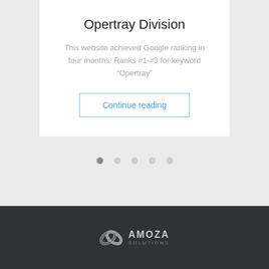Opertray Division
This website achieved Google ranking in four months: Ranks #1-#3 for keyword “Opertray”
Continue reading
[Figure (other): Carousel pagination dots, 5 circles, first one active (dark), rest light gray]
[Figure (logo): Amoza Solutions logo with infinity symbol icon and text AMOZA SOLUTIONS on dark footer background]